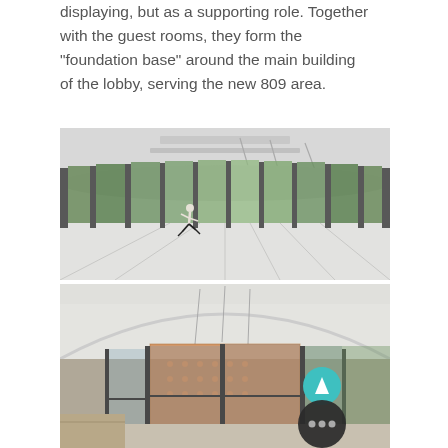displaying, but as a supporting role. Together with the guest rooms, they form the "foundation base" around the main building of the lobby, serving the new 809 area.
[Figure (photo): Interior photo of a large circular room with floor-to-ceiling glass curtain wall overlooking green trees. White ceiling with recessed lighting strips and hanging rods. A person is running across the polished white floor.]
[Figure (photo): Interior photo of a lobby with arched ceiling, glass doors with dark metal frames, orange/brick facade visible outside. A teal circular button with an upward chevron and a dark circular button with three dots are overlaid on the image.]